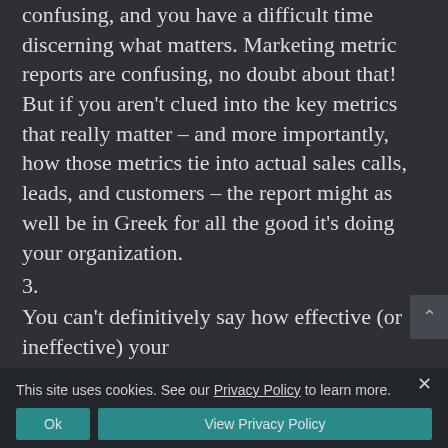confusing, and you have a difficult time discerning what matters. Marketing metric reports are confusing, no doubt about that! But if you aren't clued into the key metrics that really matter – and more importantly, how those metrics tie into actual sales calls, leads, and customers – the report might as well be in Greek for all the good it's doing your organization.
3.
You can't definitively say how effective (or ineffective) your
This site uses cookies. See our Privacy Policy to learn more.